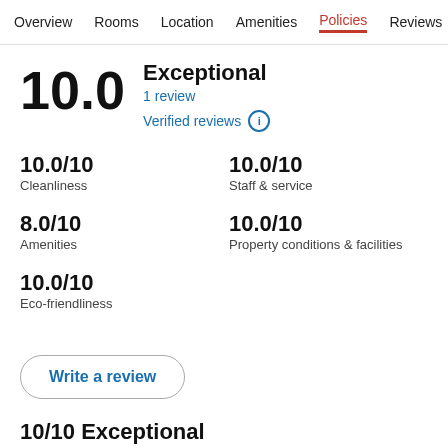Overview  Rooms  Location  Amenities  Policies  Reviews
10.0
Exceptional
1 review
Verified reviews ℹ
10.0/10
Cleanliness
10.0/10
Staff & service
8.0/10
Amenities
10.0/10
Property conditions & facilities
10.0/10
Eco-friendliness
Write a review
10/10 Exceptional